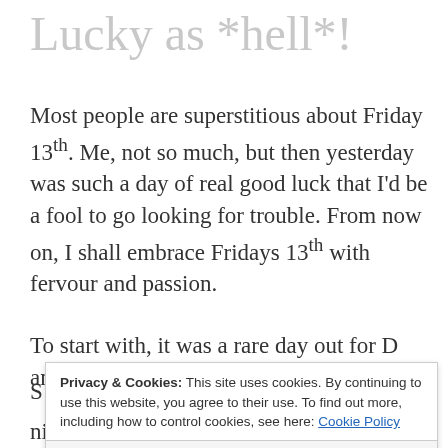Lucky as *hell*!
Most people are superstitious about Friday 13th. Me, not so much, but then yesterday was such a day of real good luck that I'd be a fool to go looking for trouble. From now on, I shall embrace Fridays 13th with fervour and passion.
To start with, it was a rare day out for D and I.
S [partially obscured]
t [partially obscured]
s [partially obscured]
a [partially obscured]
Privacy & Cookies: This site uses cookies. By continuing to use this website, you agree to their use. To find out more, including how to control cookies, see here: Cookie Policy
Close and accept
nice just to be alone together (not counting